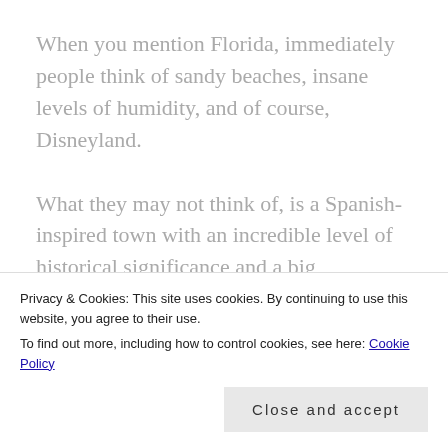When you mention Florida, immediately people think of sandy beaches, insane levels of humidity, and of course, Disneyland.
What they may not think of, is a Spanish-inspired town with an incredible level of historical significance and a big contribution to
Privacy & Cookies: This site uses cookies. By continuing to use this website, you agree to their use.
To find out more, including how to control cookies, see here: Cookie Policy
Close and accept